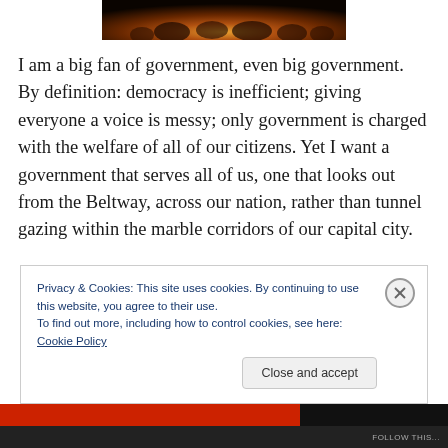[Figure (photo): Crowd of people at a concert or event, warm amber/orange lighting from below, dark background above]
I am a big fan of government, even big government. By definition: democracy is inefficient; giving everyone a voice is messy; only government is charged with the welfare of all of our citizens. Yet I want a government that serves all of us, one that looks out from the Beltway, across our nation, rather than tunnel gazing within the marble corridors of our capital city.
Privacy & Cookies: This site uses cookies. By continuing to use this website, you agree to their use.
To find out more, including how to control cookies, see here: Cookie Policy
Close and accept